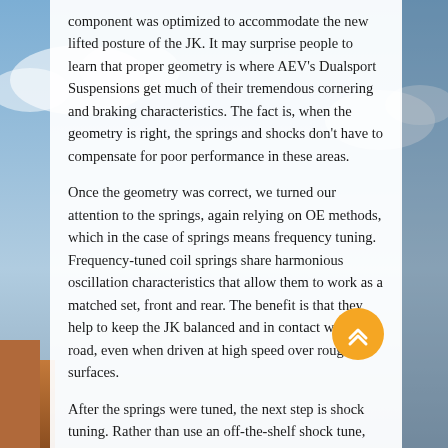component was optimized to accommodate the new lifted posture of the JK. It may surprise people to learn that proper geometry is where AEV's Dualsport Suspensions get much of their tremendous cornering and braking characteristics. The fact is, when the geometry is right, the springs and shocks don't have to compensate for poor performance in these areas.

Once the geometry was correct, we turned our attention to the springs, again relying on OE methods, which in the case of springs means frequency tuning. Frequency-tuned coil springs share harmonious oscillation characteristics that allow them to work as a matched set, front and rear. The benefit is that they help to keep the JK balanced and in contact with the road, even when driven at high speed over rough surfaces.

After the springs were tuned, the next step is shock tuning. Rather than use an off-the-shelf shock tune, we